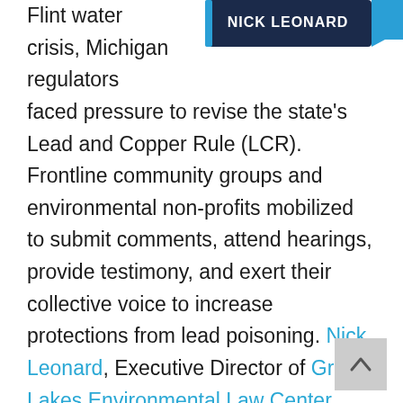[Figure (illustration): Nick Leonard logo/badge in dark blue with teal speech bubble accent, top right corner]
Flint water crisis, Michigan regulators faced pressure to revise the state's Lead and Copper Rule (LCR). Frontline community groups and environmental non-profits mobilized to submit comments, attend hearings, provide testimony, and exert their collective voice to increase protections from lead poisoning. Nick Leonard, Executive Director of Great Lakes Environmental Law Center (GLELC), advocates for stringent compliance with the federal and state Lead and Copper Rules. During the rulemaking process, GLELC helped partner organizations understand the proposed changes and incorporated their perspectives into their